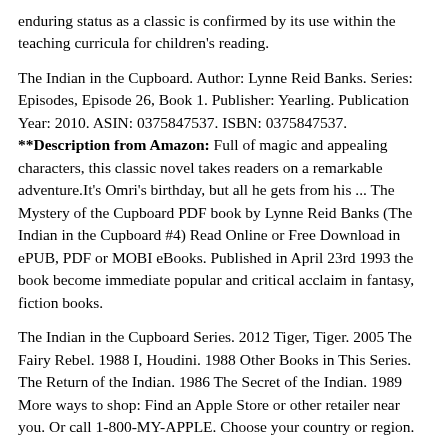enduring status as a classic is confirmed by its use within the teaching curricula for children's reading.
The Indian in the Cupboard. Author: Lynne Reid Banks. Series: Episodes, Episode 26, Book 1. Publisher: Yearling. Publication Year: 2010. ASIN: 0375847537. ISBN: 0375847537. **Description from Amazon: Full of magic and appealing characters, this classic novel takes readers on a remarkable adventure.It's Omri's birthday, but all he gets from his ... The Mystery of the Cupboard PDF book by Lynne Reid Banks (The Indian in the Cupboard #4) Read Online or Free Download in ePUB, PDF or MOBI eBooks. Published in April 23rd 1993 the book become immediate popular and critical acclaim in fantasy, fiction books.
The Indian in the Cupboard Series. 2012 Tiger, Tiger. 2005 The Fairy Rebel. 1988 I, Houdini. 1988 Other Books in This Series. The Return of the Indian. 1986 The Secret of the Indian. 1989 More ways to shop: Find an Apple Store or other retailer near you. Or call 1-800-MY-APPLE. Choose your country or region.
The Indian in the Cupboard Author: Lynne Reid Banks Series: The Indian in the Cupboard Narrator: Lynne Reid Banks Unabridged: 4 hr 20 min Publisher: Listening Library Published: 09/23/2003 Genre: Children & Young Adults Fiction - Fantasy & Magic Ages: 12 - 13 Format: Digital Audiobook Synopsis